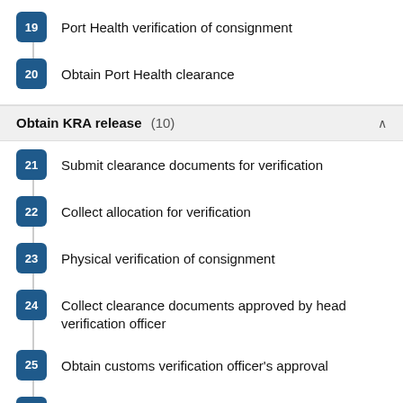19 Port Health verification of consignment
20 Obtain Port Health clearance
Obtain KRA release (10)
21 Submit clearance documents for verification
22 Collect allocation for verification
23 Physical verification of consignment
24 Collect clearance documents approved by head verification officer
25 Obtain customs verification officer's approval
26 Obtain handling shed invoice
27 Pay for handling shed charges
28 Obtain delivery notification
29 Obtain customs border control approval
30 Verfication of consignment and clearance